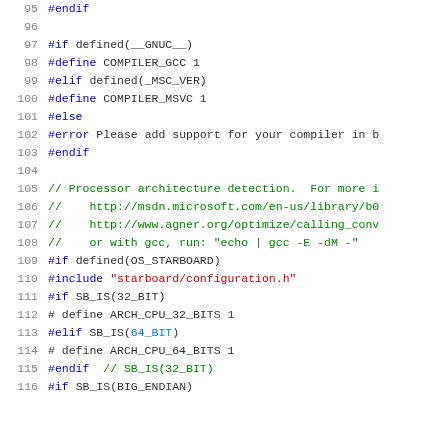95  #endif
96
97  #if defined(__GNUC__)
98  #define COMPILER_GCC 1
99  #elif defined(_MSC_VER)
100 #define COMPILER_MSVC 1
101 #else
102 #error Please add support for your compiler in b
103 #endif
104
105 // Processor architecture detection.  For more i
106 //   http://msdn.microsoft.com/en-us/library/b0
107 //   http://www.agner.org/optimize/calling_conv
108 //   or with gcc, run: "echo | gcc -E -dM -"
109 #if defined(OS_STARBOARD)
110 #include "starboard/configuration.h"
111 #if SB_IS(32_BIT)
112 # define ARCH_CPU_32_BITS 1
113 #elif SB_IS(64_BIT)
114 # define ARCH_CPU_64_BITS 1
115 #endif  // SB_IS(32_BIT)
116 #if SB_IS(BIG_ENDIAN)